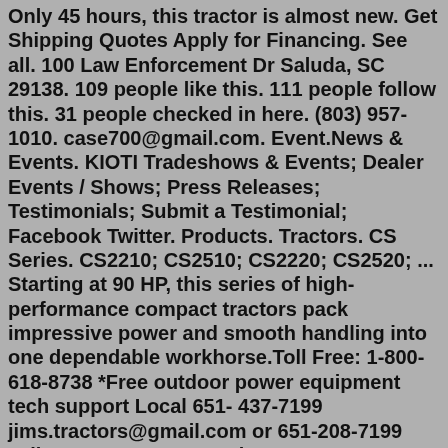Only 45 hours, this tractor is almost new. Get Shipping Quotes Apply for Financing. See all. 100 Law Enforcement Dr Saluda, SC 29138. 109 people like this. 111 people follow this. 31 people checked in here. (803) 957-1010. case700@gmail.com. Event.News & Events. KIOTI Tradeshows & Events; Dealer Events / Shows; Press Releases; Testimonials; Submit a Testimonial; Facebook Twitter. Products. Tractors. CS Series. CS2210; CS2510; CS2220; CS2520; ... Starting at 90 HP, this series of high-performance compact tractors pack impressive power and smooth handling into one dependable workhorse.Toll Free: 1-800-618-8738 *Free outdoor power equipment tech support Local 651- 437-7199 jims.tractors@gmail.com or 651-208-7199 cell We are open Mon-Fri 10 a.m. to 7 p.m. Sat 10 am to 3 pm - CST Sunday Closed Repowered Equipment works better than new Simply the best Lawn and Garden Outdoor Equipment to be found Garden Tractor Info - BlogFor Sale: Wheel horse tractor d250 has a 70 inch deck, has a Renault engine 19.2 hp engine turn